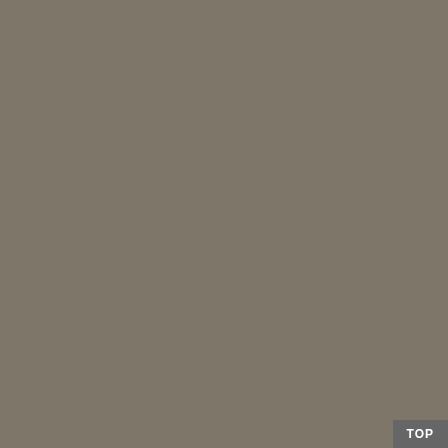[Figure (screenshot): Gray sidebar on the left portion of the page]
The Gift Jesus B... God
2013 Horn Creek... Conference Springs Reformed... RPCNA
P...
Sermons pr...
07/15/13  M...
07/15/13  M...
07/16/13  T...
07/16/13  T...
07/18/13  T...
07/18/13  T...
07/19/13  F...
USER COMMEN...
If you were ble...
TOP